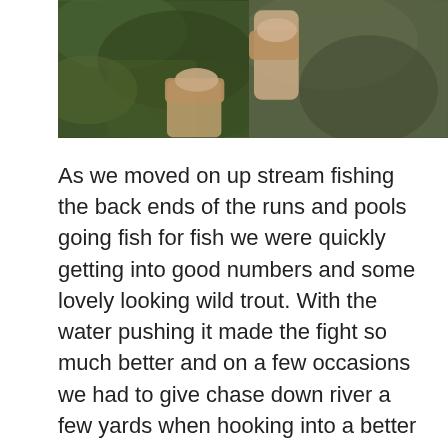[Figure (photo): Two people holding a fish near a stream; one wearing camouflage jacket, photo split showing hands holding the catch against dark water/rocks background.]
As we moved on up stream fishing the back ends of the runs and pools going fish for fish we were quickly getting into good numbers and some lovely looking wild trout. With the water pushing it made the fight so much better and on a few occasions we had to give chase down river a few yards when hooking into a better size fish.  After a while, i gave Nicholas a ring to see how things were going down stream and after a quick chat ,Nic was on his way up and from there we all stuck together and all took turns fishing each run and pool we come across. I  have to say it was Nicholas's first visit to the stream and fair play he was doing really well with a good number of trout to hand and some really fine looking trout too. It was a pleasure fishing with him again and by the looks on his face i think he really enjoyed the day.